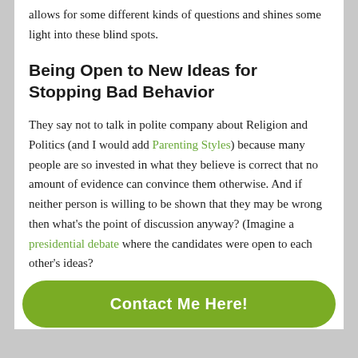allows for some different kinds of questions and shines some light into these blind spots.
Being Open to New Ideas for Stopping Bad Behavior
They say not to talk in polite company about Religion and Politics (and I would add Parenting Styles) because many people are so invested in what they believe is correct that no amount of evidence can convince them otherwise. And if neither person is willing to be shown that they may be wrong then what’s the point of discussion anyway? (Imagine a presidential debate where the candidates were open to each other’s ideas?
Contact Me Here!